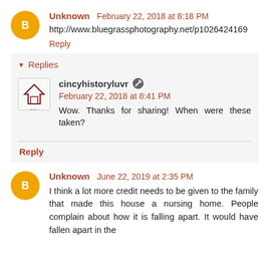Unknown February 22, 2018 at 8:18 PM
http://www.bluegrassphotography.net/p1026424169
Reply
Replies
cincyhistoryluvr February 22, 2018 at 8:41 PM
Wow. Thanks for sharing! When were these taken?
Reply
Unknown June 22, 2019 at 2:35 PM
I think a lot more credit needs to be given to the family that made this house a nursing home. People complain about how it is falling apart. It would have fallen apart in the